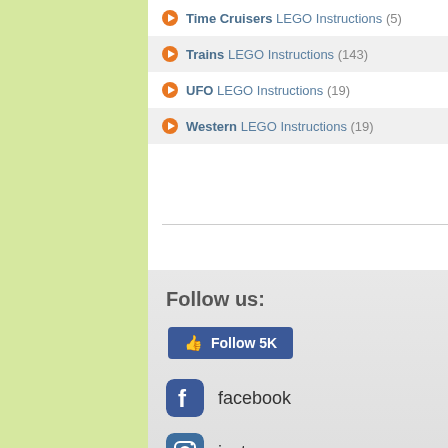Time Cruisers LEGO Instructions (5)
Trains LEGO Instructions (143)
UFO LEGO Instructions (19)
Western LEGO Instructions (19)
Follow us:
Follow 5K
facebook
instagram
youtube